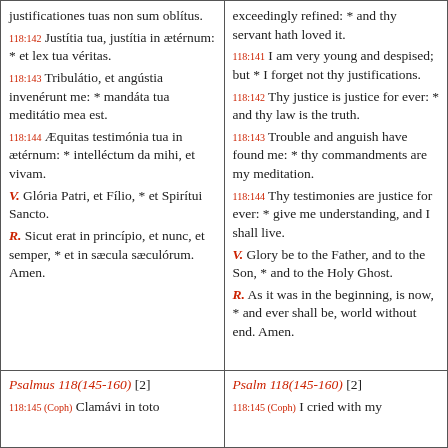justificationes tuas non sum oblítus.
118:142 Justítia tua, justítia in ætérnum: * et lex tua véritas.
118:143 Tribulátio, et angústia invenérunt me: * mandáta tua meditátio mea est.
118:144 Æquitas testimónia tua in ætérnum: * intelléctum da mihi, et vivam.
V. Glória Patri, et Fílio, * et Spirítui Sancto.
R. Sicut erat in princípio, et nunc, et semper, * et in sæcula sæculórum. Amen.
exceedingly refined: * and thy servant hath loved it.
118:141 I am very young and despised; but * I forget not thy justifications.
118:142 Thy justice is justice for ever: * and thy law is the truth.
118:143 Trouble and anguish have found me: * thy commandments are my meditation.
118:144 Thy testimonies are justice for ever: * give me understanding, and I shall live.
V. Glory be to the Father, and to the Son, * and to the Holy Ghost.
R. As it was in the beginning, is now, * and ever shall be, world without end. Amen.
Psalmus 118(145-160) [2]
118:145 (Coph) Clamávi in toto
Psalm 118(145-160) [2]
118:145 (Coph) I cried with my